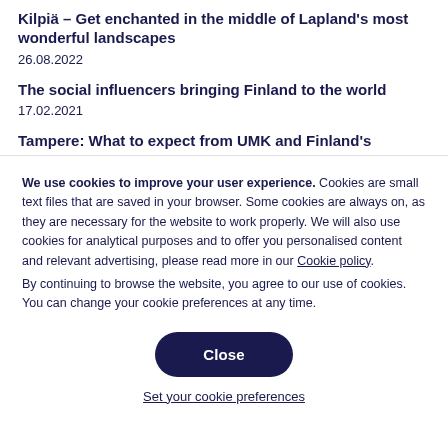Kilpiä – Get enchanted in the middle of Lapland's most wonderful landscapes
26.08.2022
The social influencers bringing Finland to the world
17.02.2021
Tampere: What to expect from UMK and Finland's
We use cookies to improve your user experience. Cookies are small text files that are saved in your browser. Some cookies are always on, as they are necessary for the website to work properly. We will also use cookies for analytical purposes and to offer you personalised content and relevant advertising, please read more in our Cookie policy.
By continuing to browse the website, you agree to our use of cookies. You can change your cookie preferences at any time.
Close
Set your cookie preferences